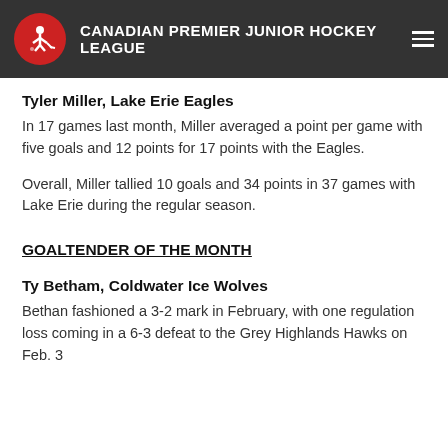CANADIAN PREMIER JUNIOR HOCKEY LEAGUE
Tyler Miller, Lake Erie Eagles
In 17 games last month, Miller averaged a point per game with five goals and 12 points for 17 points with the Eagles.
Overall, Miller tallied 10 goals and 34 points in 37 games with Lake Erie during the regular season.
GOALTENDER OF THE MONTH
Ty Betham, Coldwater Ice Wolves
Bethan fashioned a 3-2 mark in February, with one regulation loss coming in a 6-3 defeat to the Grey Highlands Hawks on Feb. 3